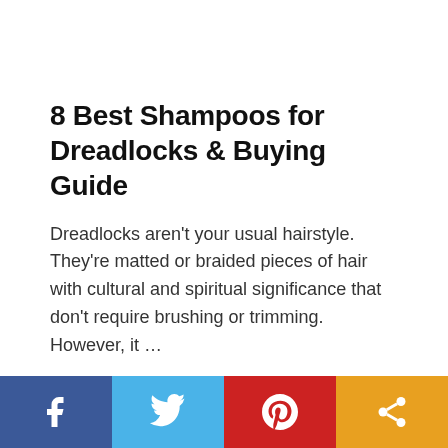8 Best Shampoos for Dreadlocks & Buying Guide
Dreadlocks aren't your usual hairstyle. They're matted or braided pieces of hair with cultural and spiritual significance that don't require brushing or trimming. However, it …
[Figure (infographic): Social media share bar at the bottom with four buttons: Facebook (blue), Twitter (light blue), Pinterest (red), Share (orange)]